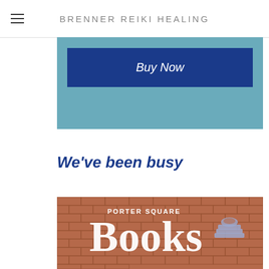BRENNER REIKI HEALING
[Figure (screenshot): Teal/blue background section with a dark blue 'Buy Now' button]
We've been busy
[Figure (photo): Photo of Porter Square Books brick building sign with large 'Books' lettering and a stacked books with coffee cup logo]